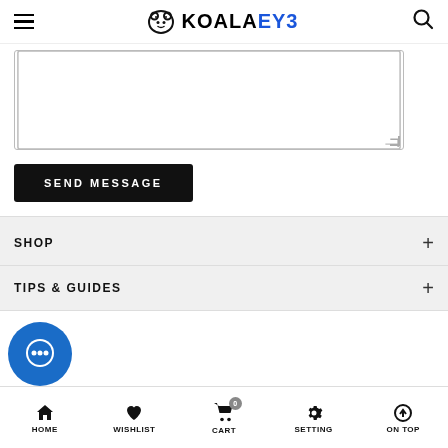KOALAEYE
[Figure (screenshot): Textarea input field with resize handle]
SEND MESSAGE
SHOP
TIPS & GUIDES
HOME  WISHLIST  CART  SETTING  ON TOP